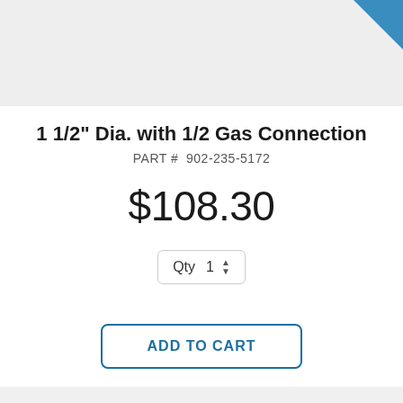[Figure (photo): Product image area - partial view of a part with blue element in upper right corner, light gray background]
1 1/2" Dia. with 1/2 Gas Connection
PART #  902-235-5172
$108.30
Qty  1
ADD TO CART